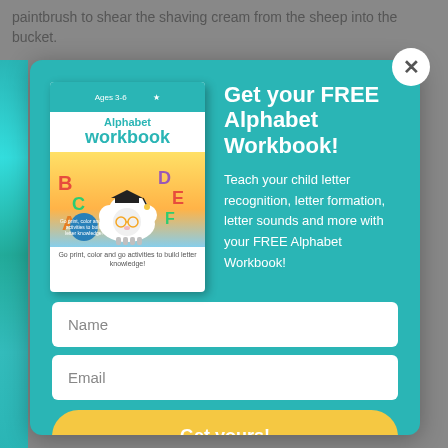paintbrush to shear the shaving cream from the sheep into the bucket.
[Figure (screenshot): A popup modal on a teal background promoting a free Alphabet Workbook. Left side shows a book cover with a sheep wearing a graduation cap and colorful letters. Right side has headline text, description, name and email input fields, and a 'Get yours!' button.]
Get your FREE Alphabet Workbook!
Teach your child letter recognition, letter formation, letter sounds and more with your FREE Alphabet Workbook!